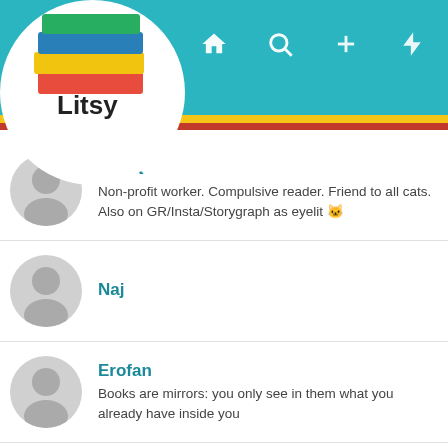[Figure (screenshot): Litsy app header with teal navigation bar showing home, search, add, lightning bolt, and profile icons, plus the Litsy logo (stacked books) in a white circle]
Eyelit
Non-profit worker. Compulsive reader. Friend to all cats. Also on GR/Insta/Storygraph as eyelit 🐱
Naj
Erofan
Books are mirrors: you only see in them what you already have inside you
jhod
Lover of books, food, laughs and wine 🍷🍷🍷🍷
TheSpineView
Bookwyrm, Dog and Horse lover, Book Blogger 📚 www.thespineview.com My life as a bibliophile🌿